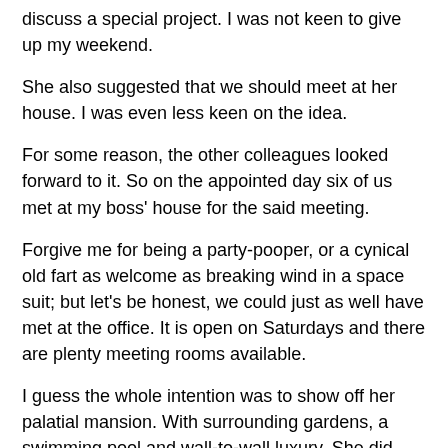discuss a special project. I was not keen to give up my weekend.
She also suggested that we should meet at her house. I was even less keen on the idea.
For some reason, the other colleagues looked forward to it. So on the appointed day six of us met at my boss' house for the said meeting.
Forgive me for being a party-pooper, or a cynical old fart as welcome as breaking wind in a space suit; but let's be honest, we could just as well have met at the office. It is open on Saturdays and there are plenty meeting rooms available.
I guess the whole intention was to show off her palatial mansion. With surrounding gardens, a swimming pool and wall-to-wall luxury. She did mention that her husband was something important "in the City", (meaning London), and in conversation she did name-drop as to who famous so and so came to her garden parties. She mentioned politicians,